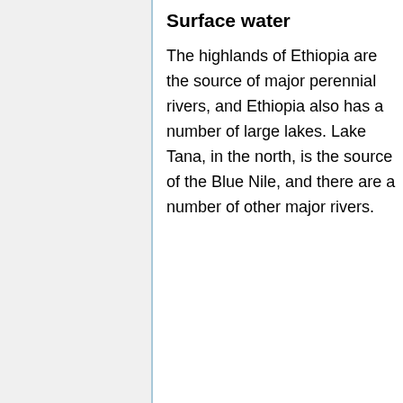Surface water
The highlands of Ethiopia are the source of major perennial rivers, and Ethiopia also has a number of large lakes. Lake Tana, in the north, is the source of the Blue Nile, and there are a number of other major rivers.